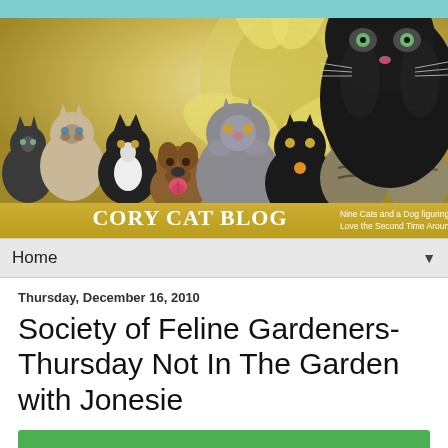[Figure (photo): Blog banner header showing multiple cats and a dog arranged together, with a large black cat prominent on the right. Yellow flower visible in background. Gold banner at bottom reads 'CORY CAT BLOG - Nine Cats and a Dog figuring out Love the Second Time Around.']
Home ▼
Thursday, December 16, 2010
Society of Feline Gardeners- Thursday Not In The Garden with Jonesie